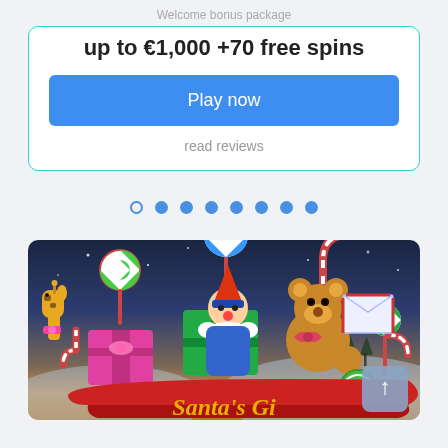Welcome bonus package
up to €1,000 +70 free spins
Play now
read reviews
[Figure (infographic): Carousel navigation dots: 8 dots, first one is an empty circle (active), remaining 7 are filled blue circles]
[Figure (photo): Santa's Gift slot game promotional image showing Christmas toys (giraffe, teddy bear, clown doll, candy canes, lollipops, wrapped presents) in a sleigh against a winter night sky. Game title 'Santa's Gift' in gold italic text at the bottom.]